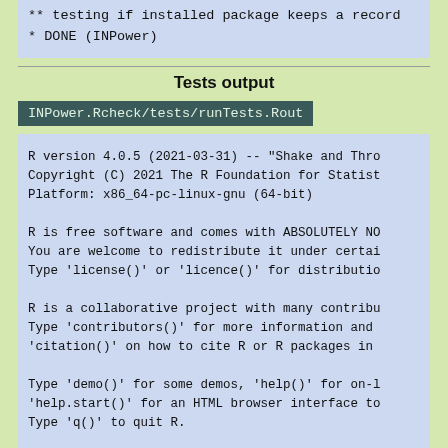** testing if installed package keeps a record
* DONE (INPower)
Tests output
INPower.Rcheck/tests/runTests.Rout
R version 4.0.5 (2021-03-31) -- "Shake and Thro
Copyright (C) 2021 The R Foundation for Statist
Platform: x86_64-pc-linux-gnu (64-bit)

R is free software and comes with ABSOLUTELY NO
You are welcome to redistribute it under certai
Type 'license()' or 'licence()' for distributio

R is a collaborative project with many contribu
Type 'contributors()' for more information and
'citation()' on how to cite R or R packages in

Type 'demo()' for some demos, 'help()' for on-l
'help.start()' for an HTML browser interface to
Type 'q()' to quit R.

> BiocGenerics:::testPackage("INPower")
[1] FALSE